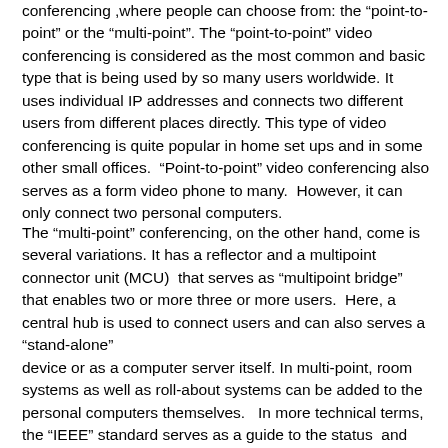conferencing ,where people can choose from: the "point-to-point" or the "multi-point". The "point-to-point" video conferencing is considered as the most common and basic type that is being used by so many users worldwide. It uses individual IP addresses and connects two different users from different places directly. This type of video conferencing is quite popular in home set ups and in some other small offices. "Point-to-point" video conferencing also serves as a form video phone to many. However, it can only connect two personal computers.
The "multi-point" conferencing, on the other hand, come is several variations. It has a reflector and a multipoint connector unit (MCU) that serves as "multipoint bridge" that enables two or more three or more users. Here, a central hub is used to connect users and can also serves a "stand-alone" device or as a computer server itself. In multi-point, room systems as well as roll-about systems can be added to the personal computers themselves. In more technical terms, the "IEEE" standard serves as a guide to the status and development of video conferencing. Here, there are two guides: the H.320 standard that says how the process operates using ISDN telephone circuits and the "H.323" that explains